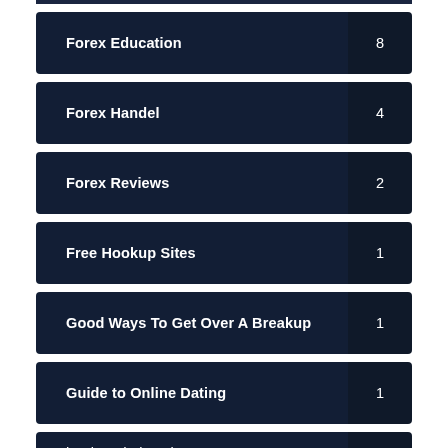Forex Education 8
Forex Handel 4
Forex Reviews 2
Free Hookup Sites 1
Good Ways To Get Over A Breakup 1
Guide to Online Dating 1
hookup dating sites 1